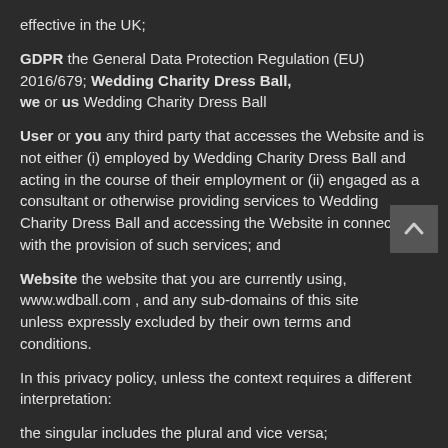effective in the UK;
GDPR the General Data Protection Regulation (EU) 2016/679; Wedding Charity Dress Ball, we or us Wedding Charity Dress Ball
User or you any third party that accesses the Website and is not either (i) employed by Wedding Charity Dress Ball and acting in the course of their employment or (ii) engaged as a consultant or otherwise providing services to Wedding Charity Dress Ball and accessing the Website in connection with the provision of such services; and
Website the website that you are currently using, www.wdball.com , and any sub-domains of this site unless expressly excluded by their own terms and conditions.
In this privacy policy, unless the context requires a different interpretation:
the singular includes the plural and vice versa;
references to sub-clauses, clauses, schedules or appendices are to sub-clauses, clauses, schedules or appendices of this privacy policy;